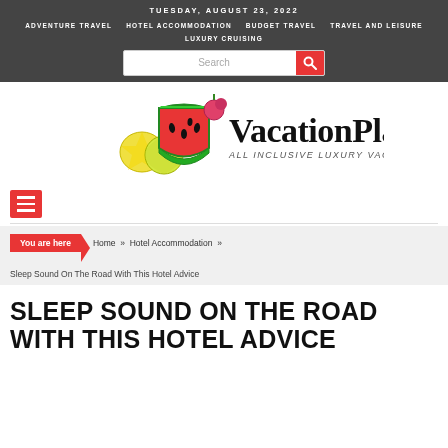TUESDAY, AUGUST 23, 2022
ADVENTURE TRAVEL   HOTEL ACCOMMODATION   BUDGET TRAVEL   TRAVEL AND LEISURE   LUXURY CRUISING
[Figure (logo): VacationPlan logo with fruit illustrations (watermelon, orange, lemon) and text 'VacationPlan - All Inclusive Luxury Vacations Planner']
You are here  Home » Hotel Accommodation »  Sleep Sound On The Road With This Hotel Advice
SLEEP SOUND ON THE ROAD WITH THIS HOTEL ADVICE